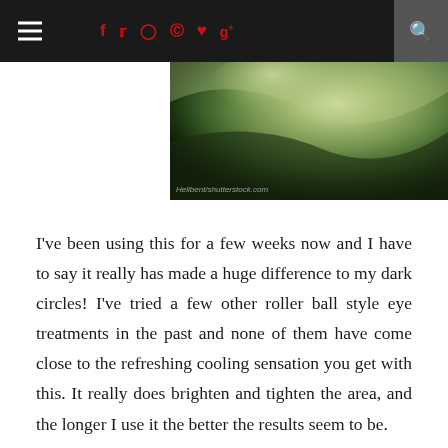☰  f  t  ◻  ⊙  ♥  g+  🔍
[Figure (photo): Close-up blurred photo of green leaves with light reflection, watermark text 'Hellbent/shutterstock.com' at bottom left]
I've been using this for a few weeks now and I have to say it really has made a huge difference to my dark circles! I've tried a few other roller ball style eye treatments in the past and none of them have come close to the refreshing cooling sensation you get with this. It really does brighten and tighten the area, and the longer I use it the better the results seem to be.
The Nip + Fab Viper Venom Eye Fix is a great fix for the morning after the night before or just for those super early mornings when you need